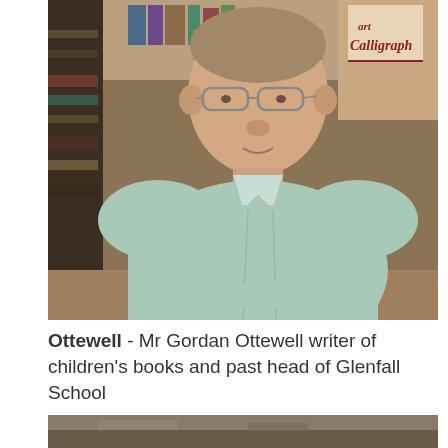[Figure (photo): Portrait photo of an older man with glasses wearing a light green/mint collared shirt, seated in front of bookshelves with a 'Calligraphy' sign or book visible in the upper right background.]
Ottewell - Mr Gordan Ottewell writer of children's books and past head of Glenfall School
[Figure (photo): Partial photo visible at bottom of page, showing what appears to be an outdoor or landscape scene, cut off.]